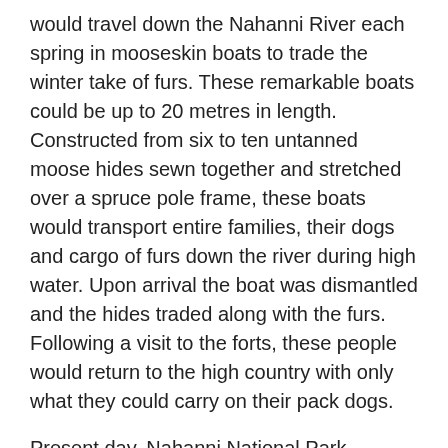would travel down the Nahanni River each spring in mooseskin boats to trade the winter take of furs. These remarkable boats could be up to 20 metres in length. Constructed from six to ten untanned moose hides sewn together and stretched over a spruce pole frame, these boats would transport entire families, their dogs and cargo of furs down the river during high water. Upon arrival the boat was dismantled and the hides traded along with the furs. Following a visit to the forts, these people would return to the high country with only what they could carry on their pack dogs.
Present day, Nahanni National Park Reserve is cooperatively managed with the Nah?ą Dehé Consensus Team: a joint initiative to manage the park by both Parks Canada and the Dehcho First Nations. The park remains in "reserve" status pending settlement of outstanding indigenous land claims in the region. The goal is to manage and present the park in an ecologically sound manner that respects its indigenous history and